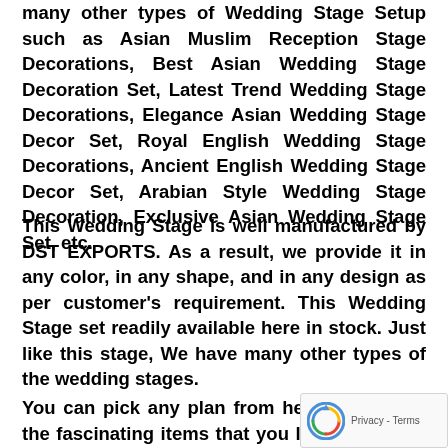many other types of Wedding Stage Setup such as Asian Muslim Reception Stage Decorations, Best Asian Wedding Stage Decoration Set, Latest Trend Wedding Stage Decorations, Elegance Asian Wedding Stage Decor Set, Royal English Wedding Stage Decorations, Ancient English Wedding Stage Decor Set, Arabian Style Wedding Stage Decoration, Exclusive Asian Wedding Stage Set, etc.
This Wedding Stage is well manufactured by DST EXPORTS. As a result, we provide it in any color, in any shape, and in any design as per customer's requirement. This Wedding Stage set readily available here in stock. Just like this stage, We have many other types of the wedding stages.
You can pick any plan from here and get all the fascinating items that you like to buy. On the off chance